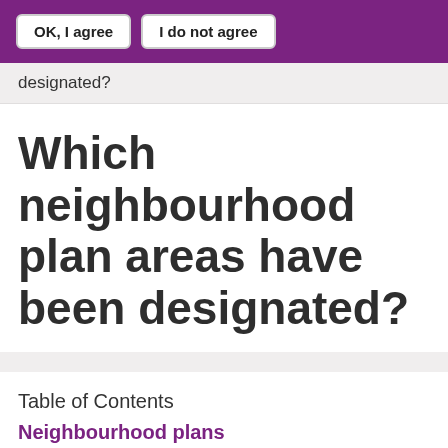OK, I agree | I do not agree
designated?
Which neighbourhood plan areas have been designated?
Table of Contents
Neighbourhood plans